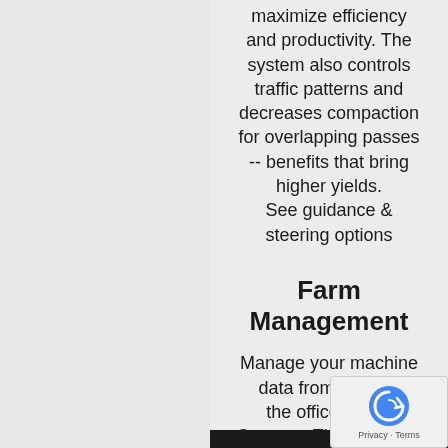maximize efficiency and productivity. The system also controls traffic patterns and decreases compaction for overlapping passes -- benefits that bring higher yields. See guidance & steering options
Farm Management
Manage your machine data from in or out the office with A Connect. This real-time